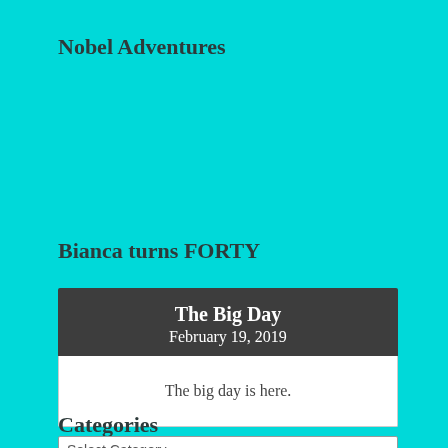Nobel Adventures
Bianca turns FORTY
The Big Day
February 19, 2019
The big day is here.
Categories
Select Category